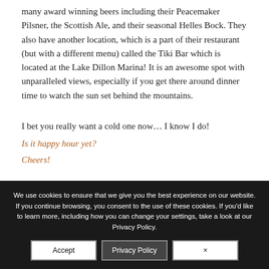many award winning beers including their Peacemaker Pilsner, the Scottish Ale, and their seasonal Helles Bock. They also have another location, which is a part of their restaurant (but with a different menu) called the Tiki Bar which is located at the Lake Dillon Marina! It is an awesome spot with unparalleled views, especially if you get there around dinner time to watch the sun set behind the mountains.
I bet you really want a cold one now… I know I do!
Is it happy hour yet?
Cheers!
We use cookies to ensure that we give you the best experience on our website. If you continue browsing, you consent to the use of these cookies. If you'd like to learn more, including how you can change your settings, take a look at our Privacy Policy.